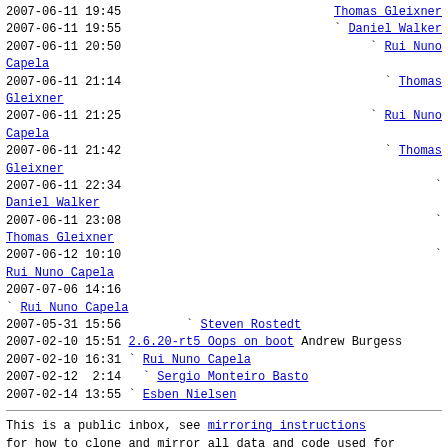2007-06-11 19:45                                    Thomas Gleixner
2007-06-11 19:55                                  ` Daniel Walker
2007-06-11 20:50                                    ` Rui Nuno
Capela
2007-06-11 21:14                                      ` Thomas
Gleixner
2007-06-11 21:25                                        ` Rui Nuno
Capela
2007-06-11 21:42                                          ` Thomas
Gleixner
2007-06-11 22:34                                            `
Daniel Walker
2007-06-11 23:08                                              `
Thomas Gleixner
2007-06-12 10:10                                                `
Rui Nuno Capela
2007-07-06 14:16
` Rui Nuno Capela
2007-05-31 15:56         ` Steven Rostedt
2007-02-10 15:51 2.6.20-rt5 Oops on boot Andrew Burgess
2007-02-10 16:31 ` Rui Nuno Capela
2007-02-12  2:14   ` Sergio Monteiro Basto
2007-02-14 13:55 ` Esben Nielsen
This is a public inbox, see mirroring instructions
for how to clone and mirror all data and code used for
this inbox;
as well as URLs for NNTP newsgroup(s).